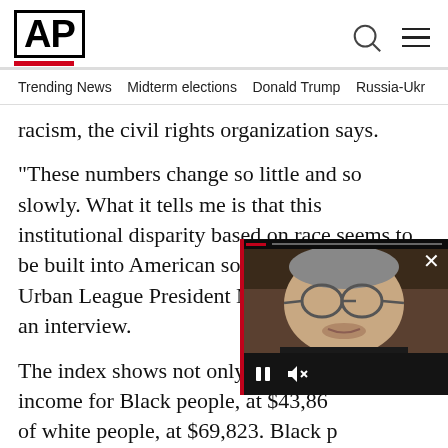AP
Trending News   Midterm elections   Donald Trump   Russia-Ukr
racism, the civil rights organization says.
“These numbers change so little and so slowly. What it tells me is that this institutional disparity based on race seems to be built into American society,” National Urban League President Marc Morial said in an interview.
The index shows not only that the income for Black people, at $43,86… of white people, at $69,823. Black p… likely to benefit from home owner… g… ional wealth in America. C… Black couples are more than twice
[Figure (screenshot): Video player overlay showing a man with glasses (William Barr) with video controls including pause and mute buttons and a close (X) button]